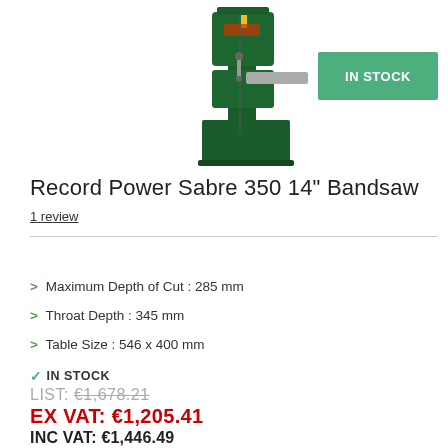[Figure (photo): Record Power Sabre 350 14 inch Bandsaw machine, green color, standing upright on a base, with blade guard and table visible]
IN STOCK
Record Power Sabre 350 14" Bandsaw
1 review
Maximum Depth of Cut : 285 mm
Throat Depth : 345 mm
Table Size : 546 x 400 mm
✓ IN STOCK
LIST: €1,678.21
EX VAT: €1,205.41
INC VAT: €1,446.49